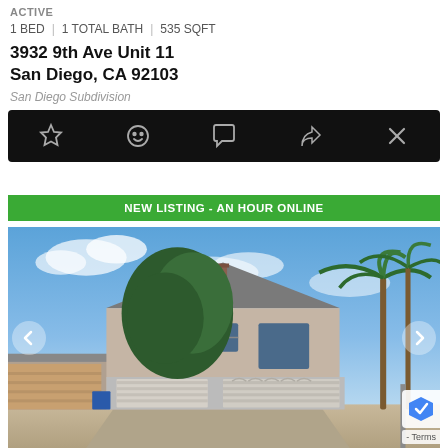ACTIVE
1 BED | 1 TOTAL BATH | 535 SQFT
3932 9th Ave Unit 11
San Diego, CA 92103
San Diego Subdivision
[Figure (screenshot): Black icon bar with five icons: star (favorite), smiley face, speech bubble (comment), share arrow, and X (close)]
[Figure (photo): New listing badge in green reading 'NEW LISTING - AN HOUR ONLINE' above a photo of a two-story house with two garage doors, palm trees and a large pine tree, blue sky with clouds. Navigation arrows on left and right sides of the photo.]